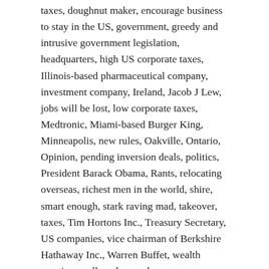taxes, doughnut maker, encourage business to stay in the US, government, greedy and intrusive government legislation, headquarters, high US corporate taxes, Illinois-based pharmaceutical company, investment company, Ireland, Jacob J Lew, jobs will be lost, low corporate taxes, Medtronic, Miami-based Burger King, Minneapolis, new rules, Oakville, Ontario, Opinion, pending inversion deals, politics, President Barack Obama, Rants, relocating overseas, richest men in the world, shire, smart enough, stark raving mad, takeover, taxes, Tim Hortons Inc., Treasury Secretary, US companies, vice chairman of Berkshire Hathaway Inc., Warren Buffet, wealth creation, well-to-do people
“Fight Against Stupidity And Bureaucracy”
I always think it’s nice when someone agrees me. Even more so when they are well versed in the subject matter.